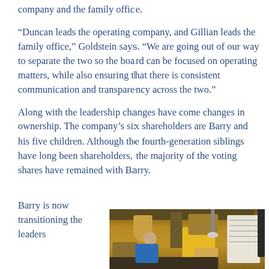company and the family office.
“Duncan leads the operating company, and Gillian leads the family office,” Goldstein says. “We are going out of our way to separate the two so the board can be focused on operating matters, while also ensuring that there is consistent communication and transparency across the two.”
Along with the leadership changes have come changes in ownership. The company’s six shareholders are Barry and his five children. Although the fourth-generation siblings have long been shareholders, the majority of the voting shares have remained with Barry.
Barry is now transitioning the leaders
[Figure (photo): Photo of an older man with gray hair wearing a blue vest, standing in an industrial setting with machinery and equipment in the background, along with a whiteboard on the right side.]